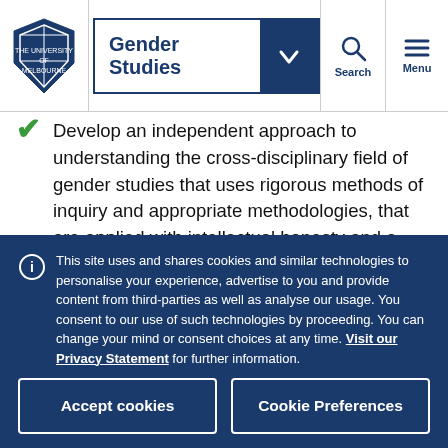Gender Studies — University of Melbourne navigation bar
Develop an independent approach to understanding the cross-disciplinary field of gender studies that uses rigorous methods of inquiry and appropriate methodologies, that are applied with intellectual honesty and a respect for ethical values;
Appreciate the value of an international and
This site uses and shares cookies and similar technologies to personalise your experience, advertise to you and provide content from third-parties as well as analyse our usage. You consent to our use of such technologies by proceeding. You can change your mind or consent choices at any time. Visit our Privacy Statement for further information.
Accept cookies | Cookie Preferences